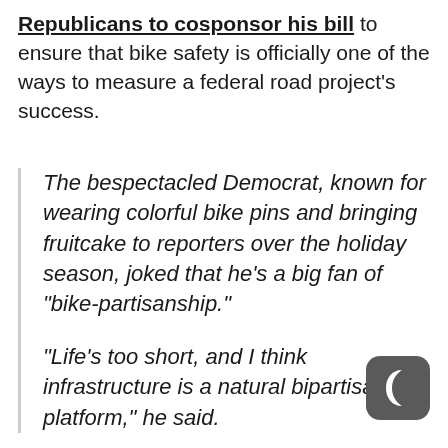Republicans to cosponsor his bill to ensure that bike safety is officially one of the ways to measure a federal road project's success.
The bespectacled Democrat, known for wearing colorful bike pins and bringing fruitcake to reporters over the holiday season, joked that he's a big fan of "bike-partisanship."
"Life's too short, and I think infrastructure is a natural bipartisan platform," he said.
[Figure (logo): Dark gray rounded square icon with a crescent moon symbol (night mode / dark mode toggle icon)]